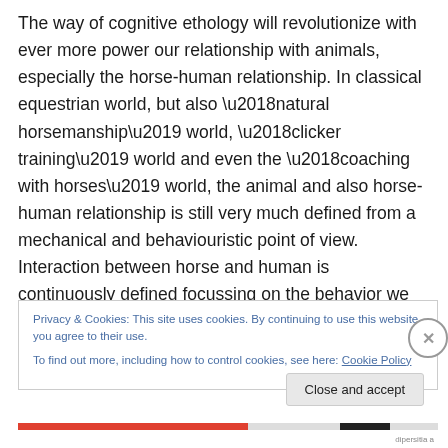The way of cognitive ethology will revolutionize with ever more power our relationship with animals, especially the horse-human relationship. In classical equestrian world, but also ‘natural horsemanship’ world, ‘clicker training’ world and even the ‘coaching with horses’ world, the animal and also horse-human relationship is still very much defined from a mechanical and behaviouristic point of view. Interaction between horse and human is continuously defined focussing on the behavior we desire from the horse.
Privacy & Cookies: This site uses cookies. By continuing to use this website, you agree to their use. To find out more, including how to control cookies, see here: Cookie Policy